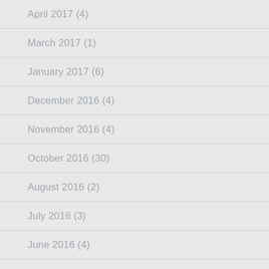April 2017 (4)
March 2017 (1)
January 2017 (6)
December 2016 (4)
November 2016 (4)
October 2016 (30)
August 2016 (2)
July 2016 (3)
June 2016 (4)
May 2016 (4)